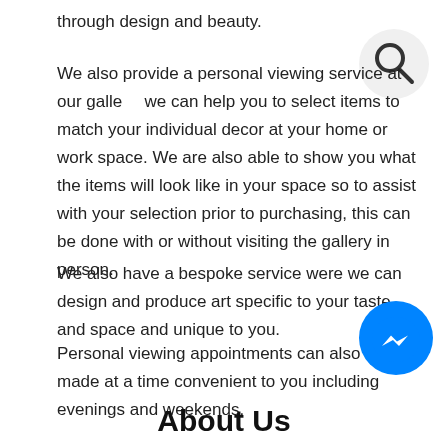through design and beauty.
We also provide a personal viewing service at our gallery, we can help you to select items to match your individual decor at your home or work space. We are also able to show you what the items will look like in your space so to assist with your selection prior to purchasing, this can be done with or without visiting the gallery in person.
We also have a bespoke service were we can design and produce art specific to your taste and space and unique to you.
Personal viewing appointments can also be made at a time convenient to you including evenings and weekends.
[Figure (illustration): Search icon — a magnifying glass symbol inside a light grey circle, positioned top right]
[Figure (logo): Facebook Messenger icon — blue circle with white lightning bolt chat symbol, bottom right]
About Us